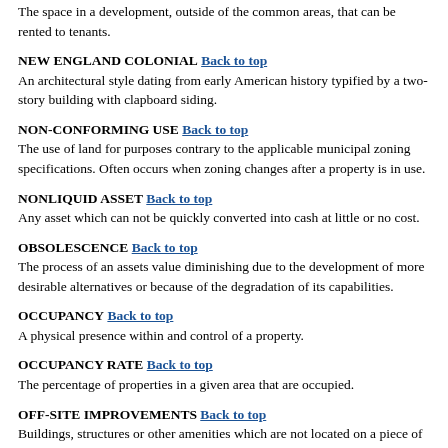The space in a development, outside of the common areas, that can be rented to tenants.
NEW ENGLAND COLONIAL Back to top
An architectural style dating from early American history typified by a two-story building with clapboard siding.
NON-CONFORMING USE Back to top
The use of land for purposes contrary to the applicable municipal zoning specifications. Often occurs when zoning changes after a property is in use.
NONLIQUID ASSET Back to top
Any asset which can not be quickly converted into cash at little or no cost.
OBSOLESCENCE Back to top
The process of an assets value diminishing due to the development of more desirable alternatives or because of the degradation of its capabilities.
OCCUPANCY Back to top
A physical presence within and control of a property.
OCCUPANCY RATE Back to top
The percentage of properties in a given area that are occupied.
OFF-SITE IMPROVEMENTS Back to top
Buildings, structures or other amenities which are not located on a piece of property, but are necessary to maximize the use of the property or in some way contribute to the value of the property.